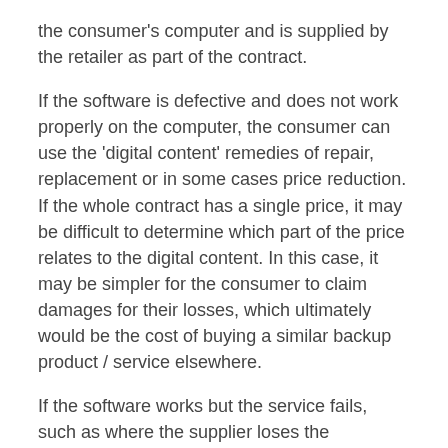the consumer's computer and is supplied by the retailer as part of the contract.
If the software is defective and does not work properly on the computer, the consumer can use the 'digital content' remedies of repair, replacement or in some cases price reduction. If the whole contract has a single price, it may be difficult to determine which part of the price relates to the digital content. In this case, it may be simpler for the consumer to claim damages for their losses, which ultimately would be the cost of buying a similar backup product / service elsewhere.
If the software works but the service fails, such as where the supplier loses the consumer's data as a result of inadequate safeguards or backups of their own, then the consumer can use the 'services' remedies of repeat performance or in some cases